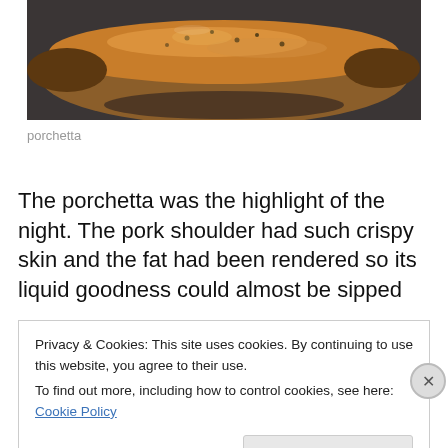[Figure (photo): Close-up photo of porchetta — roasted pork shoulder with crispy golden-brown skin, seasoned with herbs and spices, on a dark surface.]
porchetta
The porchetta was the highlight of the night. The pork shoulder had such crispy skin and the fat had been rendered so its liquid goodness could almost be sipped
Privacy & Cookies: This site uses cookies. By continuing to use this website, you agree to their use.
To find out more, including how to control cookies, see here: Cookie Policy